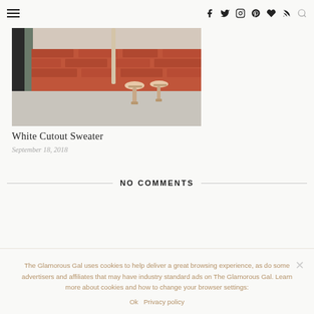Navigation bar with hamburger menu and social icons: Facebook, Twitter, Instagram, Pinterest, heart, RSS, search
[Figure (photo): Bottom portion of a fashion photo showing brick wall, sidewalk, and a person's feet wearing beige/nude heeled sandals]
White Cutout Sweater
September 18, 2018
NO COMMENTS
The Glamorous Gal uses cookies to help deliver a great browsing experience, as do some advertisers and affiliates that may have industry standard ads on The Glamorous Gal. Learn more about cookies and how to change your browser settings:
Ok   Privacy policy